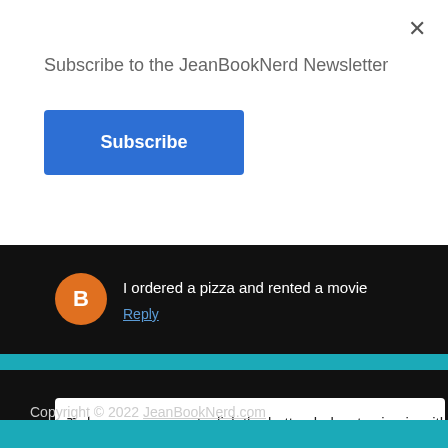Subscribe to the JeanBookNerd Newsletter
Subscribe
I ordered a pizza and rented a movie
Reply
To leave a comment, click the button below to sign in with G
SIGN IN WITH GOOGLE
Subscribe to: Post Comments (Atom)
Copyright © 2022 JeanBookNerd.com